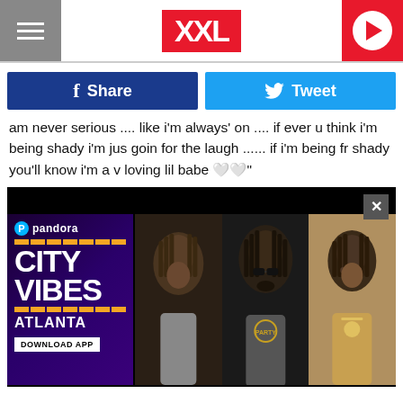XXL
f Share   Tweet
am never serious .... like i'm always' on .... if ever u think i'm being shady i'm jus goin for the laugh ...... if i'm being fr shady you'll know i'm a v loving lil babe 🤍🤍"
[Figure (screenshot): Pandora City Vibes Atlanta ad with three artists with dreadlocks]